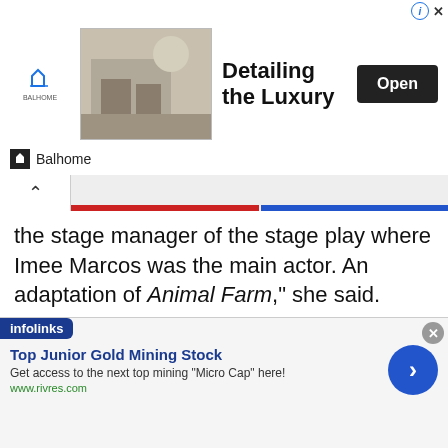[Figure (other): Top advertisement banner for Balhome 'Detailing the Luxury' with an Open button]
the stage manager of the stage play where Imee Marcos was the main actor. An adaptation of Animal Farm," she said.
"And i took up scriptwriting under Orlando Nadres (w a grade of 1) and natl artist Amelia Bonifacio (also grade of 1)," she added.
[Figure (other): Bottom Infolinks advertisement: Top Junior Gold Mining Stock - Get access to the next top mining 'Micro Cap' here! www.rivres.com]